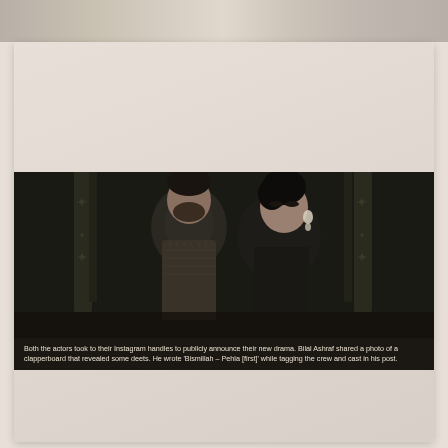[Figure (photo): Top strip showing partial view of shoes/products against light background]
Fashion Times Magazine
SEPTEMBER 2 | ENTERTAINMENT
www.fashiontimesmagazine.com
Bilal Ashraf Starts Shooting for 'Younhi' with Maya Ali; How Excited Are You For His Drama Debut?
The heartthrob of Pakistan Bilal Ashraf is all set to make his TV debut with M.D productions 'Younhi'. The upcoming drama serial is directed by Mohammad Ehteshamuddin who earlier directed him in feature film Superstar. The drama will star Maya Ali as the leading lady.
[Figure (photo): Photo of two actors, a man with beard in patterned suit and a woman with dark hair and diamond earrings, posed together in a dramatic fashion shoot]
Both the actors took to their Instagram handles to publicly announce their new drama. Bilal Ashraf shared a photo of a clapperboard that revealed some deets. He wrote 'Bismillah – Pehla [first]' while tagging the crew and cast in his post.